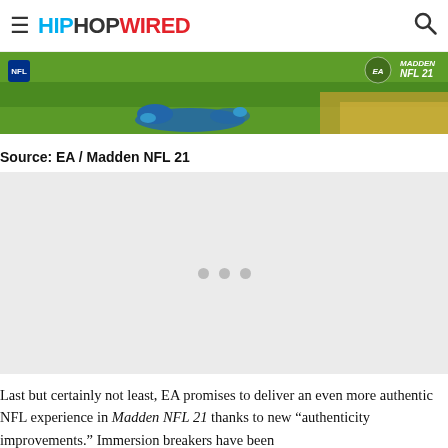HIPHOPWIRED
[Figure (screenshot): Banner image from Madden NFL 21 showing a football player on a green field with the Madden NFL 21 logo in the top right corner]
Source: EA / Madden NFL 21
[Figure (other): Advertisement placeholder area with three gray dots indicating loading content]
Last but certainly not least, EA promises to deliver an even more authentic NFL experience in Madden NFL 21 thanks to new "authenticity improvements." Immersion breakers have been